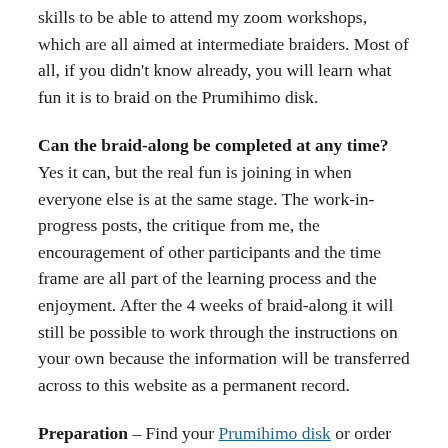skills to be able to attend my zoom workshops, which are all aimed at intermediate braiders. Most of all, if you didn't know already, you will learn what fun it is to braid on the Prumihimo disk.
Can the braid-along be completed at any time? Yes it can, but the real fun is joining in when everyone else is at the same stage. The work-in-progress posts, the critique from me, the encouragement of other participants and the time frame are all part of the learning process and the enjoyment. After the 4 weeks of braid-along it will still be possible to work through the instructions on your own because the information will be transferred across to this website as a permanent record.
Preparation – Find your Prumihimo disk or order one if necessary. These are currently only available from the UK, so if you live in another country time to get one is now getting tight. If you order now it should arrive in time, but there is no guarantee! Gather your supplies. Practise the basic braid without beads on the Prumihimo disk. It is important to be able